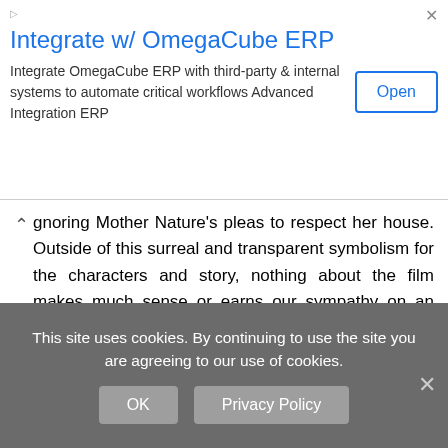[Figure (other): Advertisement banner for OmegaCube ERP integration with title, body text, and Open button]
ignoring Mother Nature's pleas to respect her house. Outside of this surreal and transparent symbolism for the characters and story, nothing about the film makes much sense or earns our sympathy on an essential emotional level.
Sadly, mother! is arguably Aronofsky's best-directed film yet; it's the script that's the problem. Just as he borrowed from Repulsion (1965) to inform Black Swan, he draws from another Polanski masterwork, Rosemary's Baby (1968), by evoking the same claustrophobic space and sinister domesticity. There isn't a better filmmaker to steal from for this type of material. Aronofsky's stylistic command provides
This site uses cookies. By continuing to use the site you are agreeing to our use of cookies.